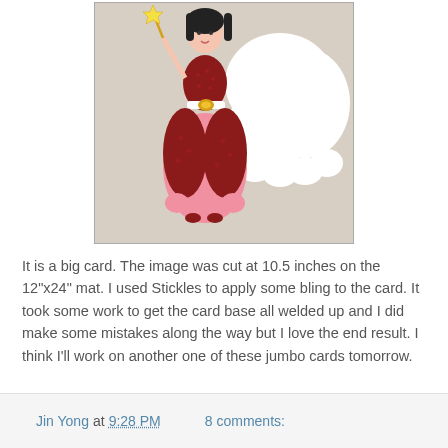[Figure (photo): A handmade paper craft card featuring a princess figure in a pink and dark red polka-dot dress holding a wand, with a white decorative cloud/castle shape behind her, set against a beige background.]
It is a big card. The image was cut at 10.5 inches on the 12"x24" mat. I used Stickles to apply some bling to the card. It took some work to get the card base all welded up and I did make some mistakes along the way but I love the end result. I think I'll work on another one of these jumbo cards tomorrow.
Jin Yong at 9:28 PM   8 comments: